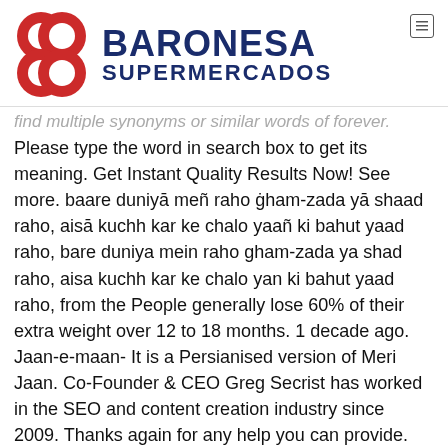[Figure (logo): Baronesa Supermercados logo with red double-circle B icon and dark blue text]
find multiple synonyms or similar words of forever. Please type the word in search box to get its meaning. Get Instant Quality Results Now! See more. baare duniyā meñ raho ġham-zada yā shaad raho, aisā kuchh kar ke chalo yaañ ki bahut yaad raho, bare duniya mein raho gham-zada ya shad raho, aisa kuchh kar ke chalo yan ki bahut yaad raho, from the People generally lose 60% of their extra weight over 12 to 18 months. 1 decade ago. Jaan-e-maan- It is a Persianised version of Meri Jaan. Co-Founder & CEO Greg Secrist has worked in the SEO and content creation industry since 2009. Thanks again for any help you can provide. It's better to wait to have until you feel totally ready — and are prepared some of the possible consequences of … The other